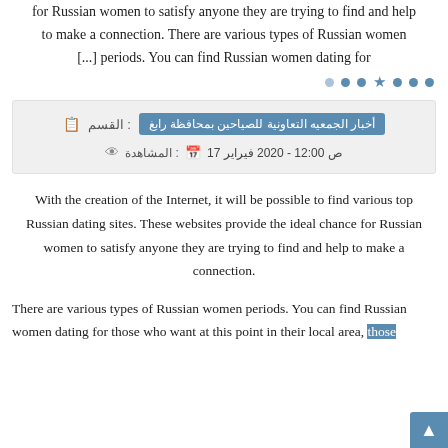for Russian women to satisfy anyone they are trying to find and help to make a connection. There are various types of Russian women [...] periods. You can find Russian women dating for
القسم : أخبار الجمعيه التعاونية للصياحين بمحافظة رابغ
المشاهدة : 17 فيراير 2020 - 12:00 ص
With the creation of the Internet, it will be possible to find various top Russian dating sites. These websites provide the ideal chance for Russian women to satisfy anyone they are trying to find and help to make a connection.
There are various types of Russian women periods. You can find Russian women dating for those who want at this point in their local area, those